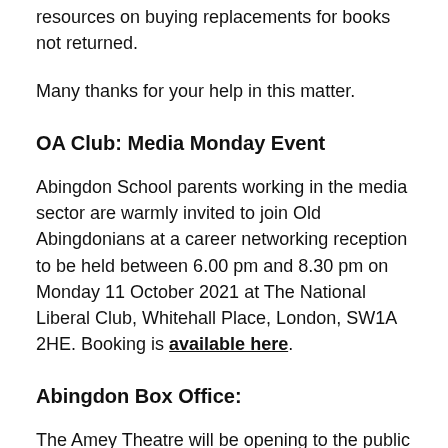resources on buying replacements for books not returned.
Many thanks for your help in this matter.
OA Club: Media Monday Event
Abingdon School parents working in the media sector are warmly invited to join Old Abingdonians at a career networking reception to be held between 6.00 pm and 8.30 pm on Monday 11 October 2021 at The National Liberal Club, Whitehall Place, London, SW1A 2HE. Booking is available here.
Abingdon Box Office:
The Amey Theatre will be opening to the public again this month. We have a great variety of screenings and talks coming up. More information and tickets can be found on